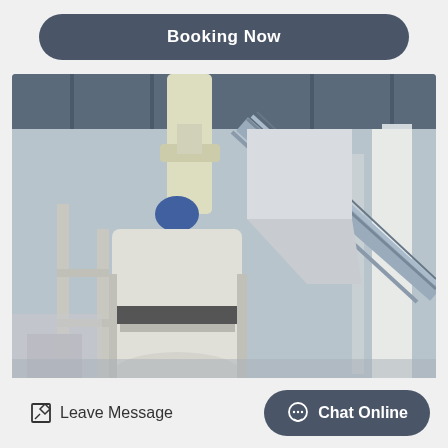Booking Now
[Figure (photo): Industrial grinding mill equipment inside a factory/warehouse, showing a large vertical mill with cyclone separator, conveyor belt system, and white cylindrical grinding chamber on a metal frame structure.]
Leave Message
Chat Online